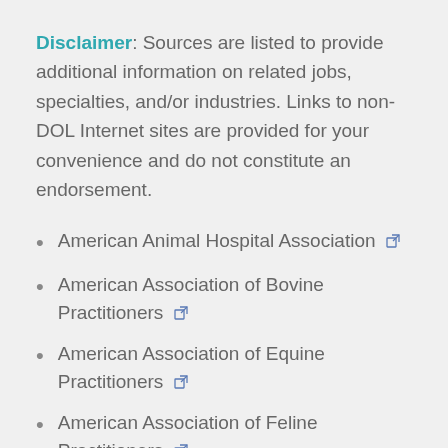Disclaimer: Sources are listed to provide additional information on related jobs, specialties, and/or industries. Links to non-DOL Internet sites are provided for your convenience and do not constitute an endorsement.
American Animal Hospital Association
American Association of Bovine Practitioners
American Association of Equine Practitioners
American Association of Feline Practitioners